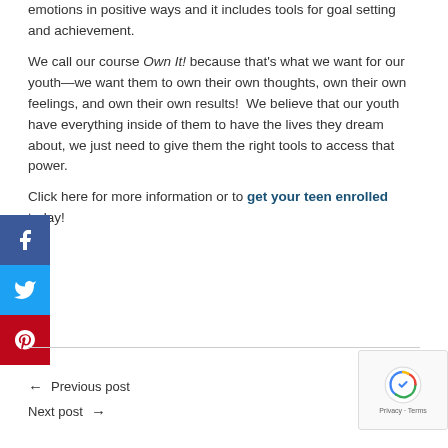emotions in positive ways and it includes tools for goal setting and achievement.
We call our course Own It! because that's what we want for our youth—we want them to own their own thoughts, own their own feelings, and own their own results!  We believe that our youth have everything inside of them to have the lives they dream about, we just need to give them the right tools to access that power.
Click here for more information or to get your teen enrolled today!
[Figure (other): Social media share buttons: Facebook (blue), Twitter (blue), Pinterest (red)]
← Previous post
Next post →